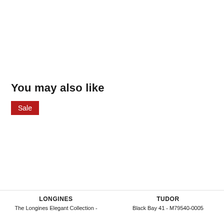You may also like
Sale
LONGINES
The Longines Elegant Collection -
TUDOR
Black Bay 41 - M79540-0005